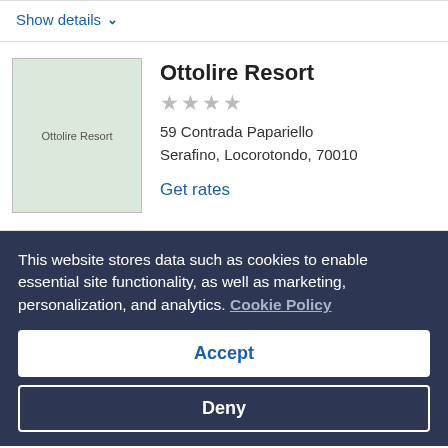Show details ∨
[Figure (photo): Ottolire Resort hotel thumbnail image placeholder]
Ottolire Resort
★★★★ (4 stars)
59 Contrada Papariello Serafino, Locorotondo, 70010
Get rates
This website stores data such as cookies to enable essential site functionality, as well as marketing, personalization, and analytics. Cookie Policy
Accept
Deny